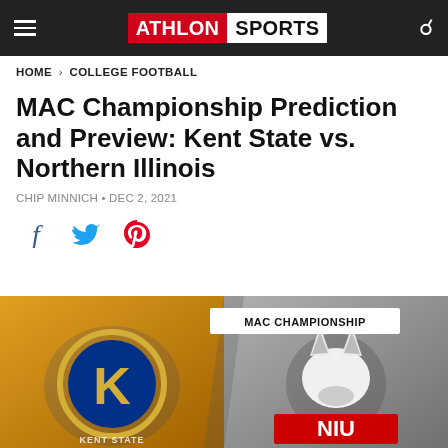Athlon Sports
HOME > COLLEGE FOOTBALL
MAC Championship Prediction and Preview: Kent State vs. Northern Illinois
CHIP MINNICH • DEC 2, 2021
[Figure (infographic): Social sharing icons: Facebook (f), Twitter (bird), Pinterest (p)]
[Figure (illustration): MAC Championship matchup graphic showing Kent State Golden Flashes logo on gold/orange background on the left, and Northern Illinois Huskies logo on grey background on the right, with 'MAC CHAMPIONSHIP' text label across the center top.]